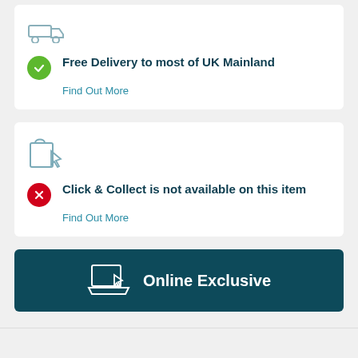[Figure (illustration): Truck/delivery icon at top of card (partially visible)]
Free Delivery to most of UK Mainland
Find Out More
[Figure (illustration): Shopping bag with cursor/click icon]
Click & Collect is not available on this item
Find Out More
[Figure (illustration): Laptop with cursor icon and Online Exclusive text banner]